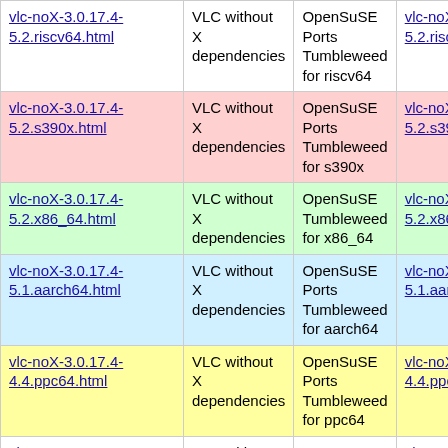| File | Description | Repository | RPM |
| --- | --- | --- | --- |
| vlc-noX-3.0.17.4-5.2.riscv64.html | VLC without X dependencies | OpenSuSE Ports Tumbleweed for riscv64 | vlc-noX-3.0.1...5.2.riscv64.rpm |
| vlc-noX-3.0.17.4-5.2.s390x.html | VLC without X dependencies | OpenSuSE Ports Tumbleweed for s390x | vlc-noX-3.0.1...5.2.s390x.rpm |
| vlc-noX-3.0.17.4-5.2.x86_64.html | VLC without X dependencies | OpenSuSE Tumbleweed for x86_64 | vlc-noX-3.0.1...5.2.x86_64.rpm |
| vlc-noX-3.0.17.4-5.1.aarch64.html | VLC without X dependencies | OpenSuSE Ports Tumbleweed for aarch64 | vlc-noX-3.0.1...5.1.aarch64.rpm |
| vlc-noX-3.0.17.4-4.4.ppc64.html | VLC without X dependencies | OpenSuSE Ports Tumbleweed for ppc64 | vlc-noX-3.0.1...4.4.ppc64.rpm |
| vlc-noX-3.0.17.4-4.4.ppc64le.html | VLC without X dependencies | OpenSuSE Ports Tumbleweed for ppc64le | vlc-noX-3.0.1...4.4.ppc64le.rpm |
| vlc-noX-3.0.17.3-bp154.1.49.aarch64.html | VLC without X dependencies | OpenSuSE Leap 15.4 | vlc-noX-3.0.1...bp154.1.49.rpm |